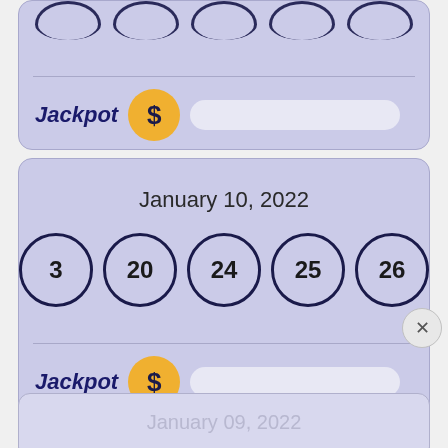[Figure (infographic): Top partial lottery card with 5 partial circles at top, a divider, and Jackpot row with dollar coin circle and white bar]
[Figure (infographic): Lottery card for January 10, 2022 showing 5 balls numbered 3, 20, 24, 25, 26 and a Jackpot row with gold dollar coin]
January 10, 2022
3  20  24  25  26
Jackpot
[Figure (infographic): Disney Bundle advertisement: hulu Disney+ ESPN+ GET THE DISNEY BUNDLE. Incl. Hulu (ad-supported) or Hulu (No Ads). Access content from each service separately. ©2021 Disney and its related entities]
January 09, 2022